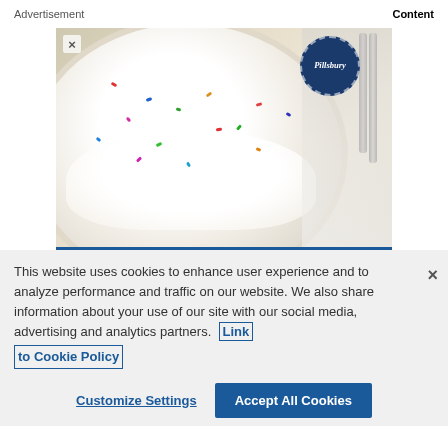Advertisement    Content
[Figure (photo): Advertisement photo of a Pillsbury funfetti-style cream pie with whipped cream topping and colorful sprinkles, with a slice removed. A fork and plate are visible in the background. Pillsbury logo badge in upper right corner.]
This website uses cookies to enhance user experience and to analyze performance and traffic on our website. We also share information about your use of our site with our social media, advertising and analytics partners. Link to Cookie Policy
Customize Settings
Accept All Cookies